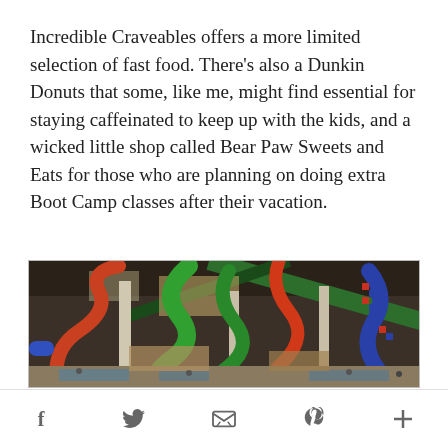Incredible Craveables offers a more limited selection of fast food. There's also a Dunkin Donuts that some, like me, might find essential for staying caffeinated to keep up with the kids, and a wicked little shop called Bear Paw Sweets and Eats for those who are planning on doing extra Boot Camp classes after their vacation.
[Figure (photo): Indoor water park with colorful water slides (red, green, blue) spiraling inside a large facility with high ceilings, structural columns, and people in the pool area below.]
Social sharing icons: Facebook, Twitter, Email, Pinterest, More